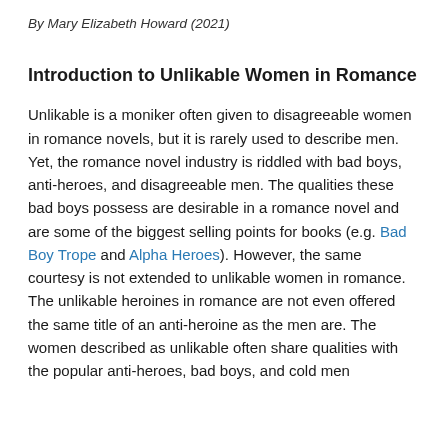By Mary Elizabeth Howard (2021)
Introduction to Unlikable Women in Romance
Unlikable is a moniker often given to disagreeable women in romance novels, but it is rarely used to describe men. Yet, the romance novel industry is riddled with bad boys, anti-heroes, and disagreeable men. The qualities these bad boys possess are desirable in a romance novel and are some of the biggest selling points for books (e.g. Bad Boy Trope and Alpha Heroes). However, the same courtesy is not extended to unlikable women in romance. The unlikable heroines in romance are not even offered the same title of an anti-heroine as the men are. The women described as unlikable often share qualities with the popular anti-heroes, bad boys, and cold men